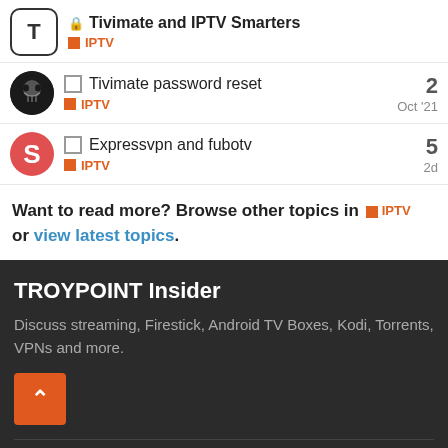Tivimate and IPTV Smarters — IPTV
Tivimate password reset — IPTV — Oct '21 — 2 replies
Expressvpn and fubotv — IPTV — 2d — 5 replies
Want to read more? Browse other topics in IPTV or view latest topics.
TROYPOINT Insider
Discuss streaming, Firestick, Android TV Boxes, Kodi, Torrents, VPNs and more.
Popular    Discounts